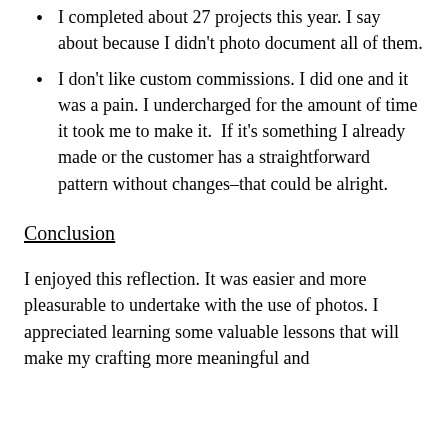I completed about 27 projects this year. I say about because I didn't photo document all of them.
I don't like custom commissions. I did one and it was a pain. I undercharged for the amount of time it took me to make it.  If it's something I already made or the customer has a straightforward pattern without changes–that could be alright.
Conclusion
I enjoyed this reflection. It was easier and more pleasurable to undertake with the use of photos. I appreciated learning some valuable lessons that will make my crafting more meaningful and...